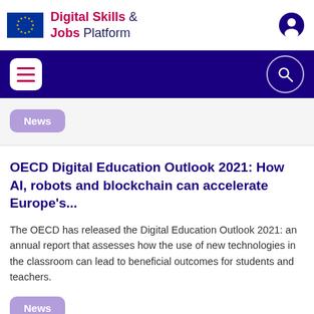[Figure (logo): EU Digital Skills & Jobs Platform logo with EU flag and site title]
[Figure (screenshot): Navigation bar with hamburger menu and search icon on dark blue background]
News
OECD Digital Education Outlook 2021: How AI, robots and blockchain can accelerate Europe's...
The OECD has released the Digital Education Outlook 2021: an annual report that assesses how the use of new technologies in the classroom can lead to beneficial outcomes for students and teachers.
News